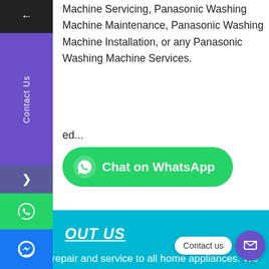Machine Servicing, Panasonic Washing Machine Maintenance, Panasonic Washing Machine Installation, or any Panasonic Washing Machine Services.
...ed...
[Figure (screenshot): Green WhatsApp Chat button with WhatsApp icon]
[Figure (screenshot): Website section with teal/cyan background showing ABOUT US heading and descriptive text. Left sidebar with Contact Us (purple), chevron, WhatsApp (green), and Messenger (blue) buttons. Floating Contact us chat widget in bottom right.]
ABOUT US
We offer repair and service to all home appliances. We provide the best customer satisfaction. We provide a reasonable price. We offer a professional service